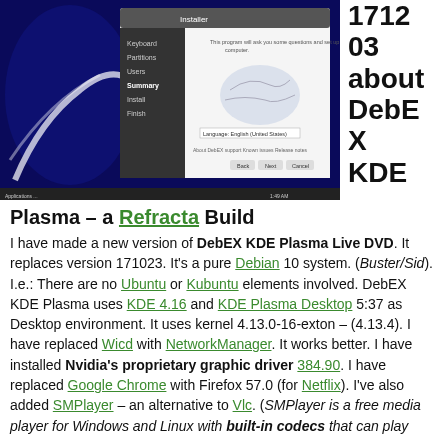[Figure (screenshot): Screenshot of DebEX KDE installation/setup program window on a dark blue Linux desktop]
171203 about DebEX KDE
Plasma – a Refracta Build
I have made a new version of DebEX KDE Plasma Live DVD. It replaces version 171023. It's a pure Debian 10 system. (Buster/Sid). I.e.: There are no Ubuntu or Kubuntu elements involved. DebEX KDE Plasma uses KDE 4.16 and KDE Plasma Desktop 5:37 as Desktop environment. It uses kernel 4.13.0-16-exton – (4.13.4). I have replaced Wicd with NetworkManager. It works better. I have installed Nvidia's proprietary graphic driver 384.90. I have replaced Google Chrome with Firefox 57.0 (for Netflix). I've also added SMPlayer – an alternative to Vlc. (SMPlayer is a free media player for Windows and Linux with built-in codecs that can play